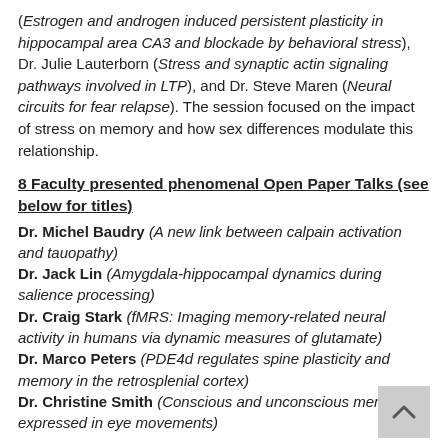(Estrogen and androgen induced persistent plasticity in hippocampal area CA3 and blockade by behavioral stress), Dr. Julie Lauterborn (Stress and synaptic actin signaling pathways involved in LTP), and Dr. Steve Maren (Neural circuits for fear relapse). The session focused on the impact of stress on memory and how sex differences modulate this relationship.
8 Faculty presented phenomenal Open Paper Talks (see below for titles)
Dr. Michel Baudry (A new link between calpain activation and tauopathy)
Dr. Jack Lin (Amygdala-hippocampal dynamics during salience processing)
Dr. Craig Stark (fMRS: Imaging memory-related neural activity in humans via dynamic measures of glutamate)
Dr. Marco Peters (PDE4d regulates spine plasticity and memory in the retrosplenial cortex)
Dr. Christine Smith (Conscious and unconscious memory as expressed in eye movements)